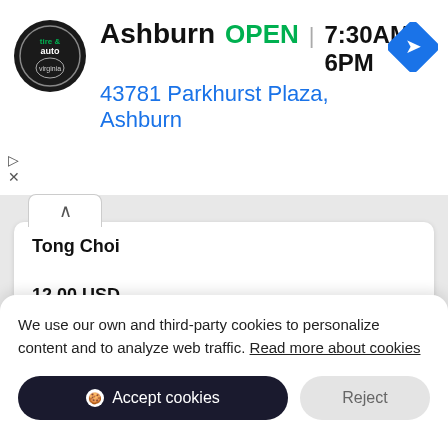[Figure (screenshot): Advertisement banner for Virginia Tire & Auto showing logo, Ashburn location, OPEN status, hours 7:30AM-6PM, address 43781 Parkhurst Plaza Ashburn, and navigation arrow icon]
Tong Choi
12.00 USD
Napa Cabbage
We use our own and third-party cookies to personalize content and to analyze web traffic. Read more about cookies
Accept cookies
Reject